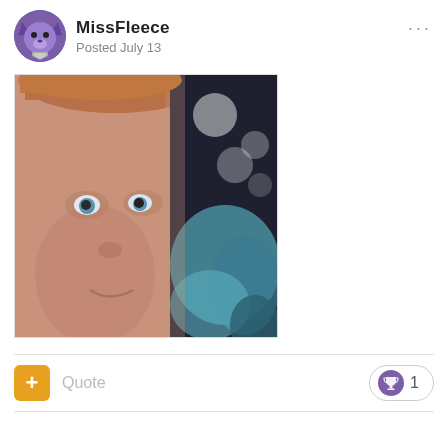MissFleece
Posted July 13
[Figure (photo): A close-up photo of a man's face (light skin, reddish-brown hair, blue eyes), with a blurred colorful background on the right half (teal/blue abstract pattern).]
Quote
1